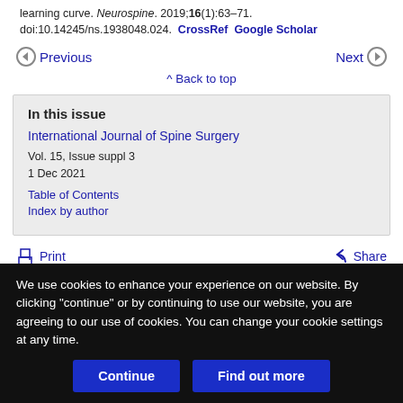learning curve. Neurospine. 2019;16(1):63–71. doi:10.14245/ns.1938048.024. CrossRef Google Scholar
Previous   Next
Back to top
In this issue
International Journal of Spine Surgery
Vol. 15, Issue suppl 3
1 Dec 2021
Table of Contents
Index by author
Print   Share
We use cookies to enhance your experience on our website. By clicking "continue" or by continuing to use our website, you are agreeing to our use of cookies. You can change your cookie settings at any time.